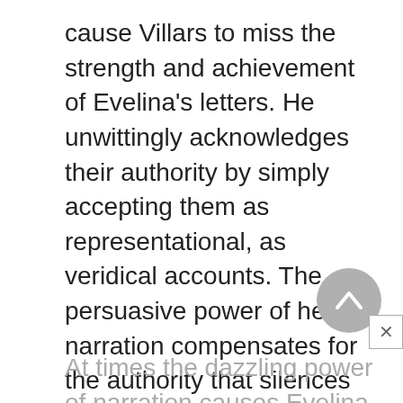cause Villars to miss the strength and achievement of Evelina's letters. He unwittingly acknowledges their authority by simply accepting them as representational, as veridical accounts. The persuasive power of her narration compensates for the authority that silences her. She corresponds because her experiences do not—discordia concors.
At times the dazzling power of narration causes Evelina to fall back